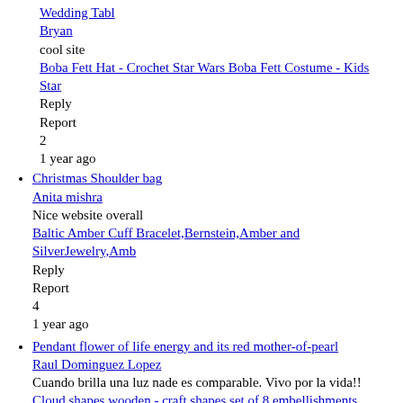Wedding Tabl
Bryan
cool site
Boba Fett Hat - Crochet Star Wars Boba Fett Costume - Kids Star
Reply
Report
2
1 year ago
Christmas Shoulder bag
Anita mishra
Nice website overall
Baltic Amber Cuff Bracelet,Bernstein,Amber and SilverJewelry,Amb
Reply
Report
4
1 year ago
Pendant flower of life energy and its red mother-of-pearl
Raul Dominguez Lopez
Cuando brilla una luz nade es comparable. Vivo por la vida!!
Cloud shapes wooden - craft shapes set of 8 embellishments art k
Reply
Report